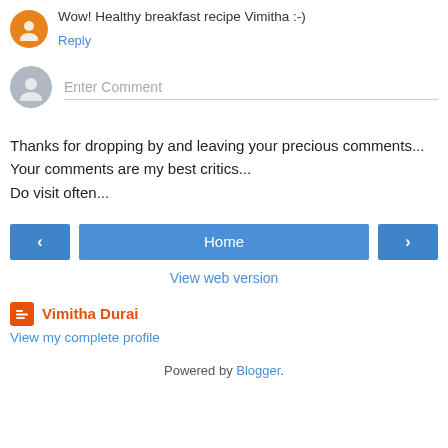Wow! Healthy breakfast recipe Vimitha :-)
Reply
Enter Comment
Thanks for dropping by and leaving your precious comments... Your comments are my best critics... Do visit often...
< Home >
View web version
Vimitha Durai
View my complete profile
Powered by Blogger.